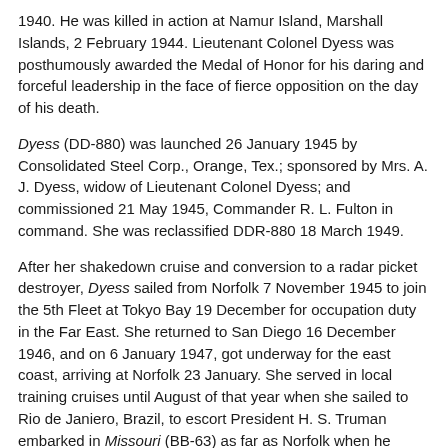1940. He was killed in action at Namur Island, Marshall Islands, 2 February 1944. Lieutenant Colonel Dyess was posthumously awarded the Medal of Honor for his daring and forceful leadership in the face of fierce opposition on the day of his death.
Dyess (DD-880) was launched 26 January 1945 by Consolidated Steel Corp., Orange, Tex.; sponsored by Mrs. A. J. Dyess, widow of Lieutenant Colonel Dyess; and commissioned 21 May 1945, Commander R. L. Fulton in command. She was reclassified DDR-880 18 March 1949.
After her shakedown cruise and conversion to a radar picket destroyer, Dyess sailed from Norfolk 7 November 1945 to join the 5th Fleet at Tokyo Bay 19 December for occupation duty in the Far East. She returned to San Diego 16 December 1946, and on 6 January 1947, got underway for the east coast, arriving at Norfolk 23 January. She served in local training cruises until August of that year when she sailed to Rio de Janiero, Brazil, to escort President H. S. Truman embarked in Missouri (BB-63) as far as Norfolk when he transferred to the Presidential yacht Williamsburg (AGC-369) which Dyess escorted to Washington, D.C.
Dyess arrived at Newport, R.I., 27 September 1947 for local training operations. After a tour of duty with the 6th Fleet in the Mediterranean